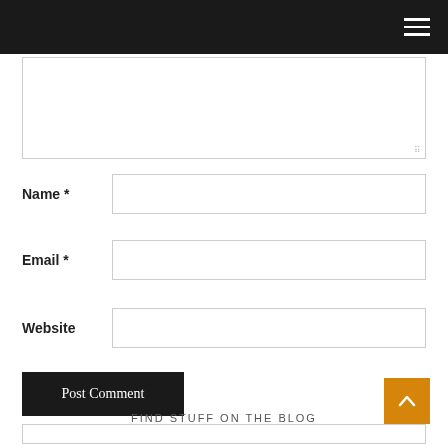Comment textarea (resizable)
Name *
Email *
Website
Post Comment
FIND STUFF ON THE BLOG